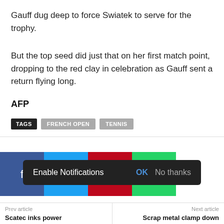Gauff dug deep to force Swiatek to serve for the trophy.
But the top seed did just that on her first match point, dropping to the red clay in celebration as Gauff sent a return flying long.
AFP
TAGS  FRENCH OPEN  TENNIS
[Figure (infographic): Social sharing buttons: Facebook (blue), Twitter (cyan), Pinterest (red), WhatsApp (green)]
Enable Notifications  OK  No thanks
Prev article: Scatec inks power    Next article: Scrap metal clamp down